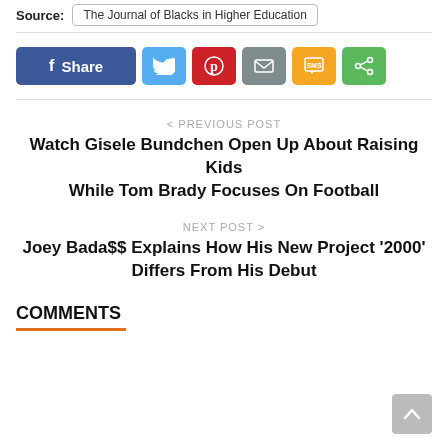Source: The Journal of Blacks in Higher Education
[Figure (other): Social share buttons row: Facebook Share, Twitter, Pinterest, Email, SMS, Share]
< PREVIOUS POST
Watch Gisele Bundchen Open Up About Raising Kids While Tom Brady Focuses On Football
NEXT POST >
Joey Bada$$ Explains How His New Project '2000' Differs From His Debut
COMMENTS